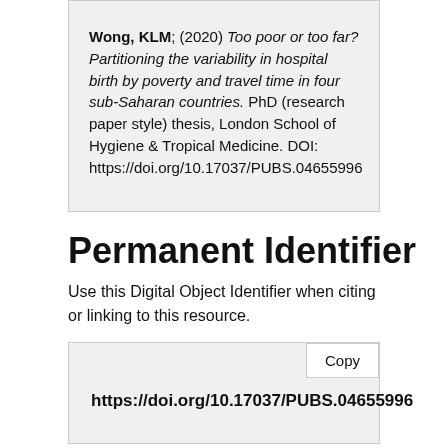Wong, KLM; (2020) Too poor or too far? Partitioning the variability in hospital birth by poverty and travel time in four sub-Saharan countries. PhD (research paper style) thesis, London School of Hygiene & Tropical Medicine. DOI: https://doi.org/10.17037/PUBS.04655996
Permanent Identifier
Use this Digital Object Identifier when citing or linking to this resource.
https://doi.org/10.17037/PUBS.04655996
Abstract